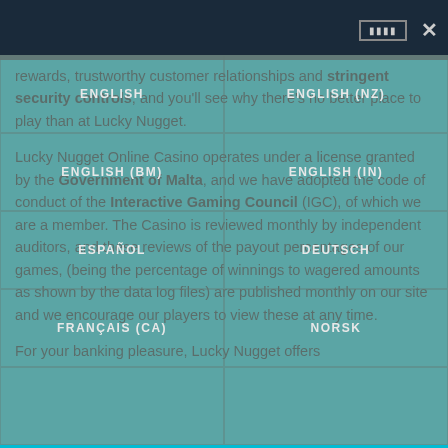Language selector overlay
rewards, trustworthy customer relationships and stringent security controls, and you'll see why there's no better place to play than at Lucky Nugget.
Lucky Nugget Online Casino operates under a license granted by the Government of Malta, and we have adopted the code of conduct of the Interactive Gaming Council (IGC), of which we are a member. The Casino is reviewed monthly by independent auditors, and these reviews of the payout percentages of our games, (being the percentage of winnings to wagered amounts as shown by the data log files) are published monthly on our site and we encourage our players to view these at any time.
For your banking pleasure, Lucky Nugget offers